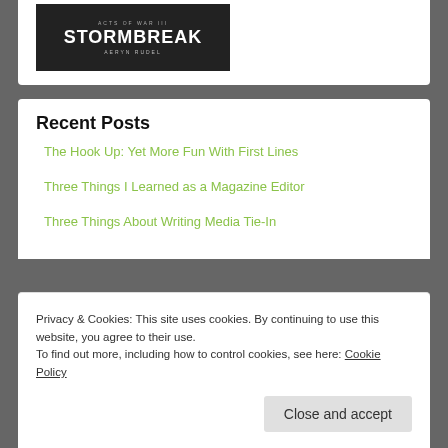[Figure (illustration): Book cover for 'Acts of War III: Stormbreak' by Aeryn Rudel, dark themed cover with dramatic fantasy imagery]
Recent Posts
The Hook Up: Yet More Fun With First Lines
Three Things I Learned as a Magazine Editor
Three Things About Writing Media Tie-In
Privacy & Cookies: This site uses cookies. By continuing to use this website, you agree to their use.
To find out more, including how to control cookies, see here: Cookie Policy